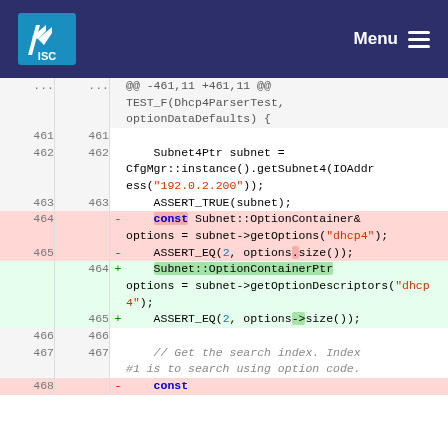ISC — Menu
[Figure (screenshot): Git diff code view showing changes to Dhcp4ParserTest optionDataDefaults function. Lines 461-468 shown with deletions (red) and additions (green) replacing Subnet::OptionContainer& with Subnet::OptionContainerPtr and getOptions with getOptionDescriptors.]